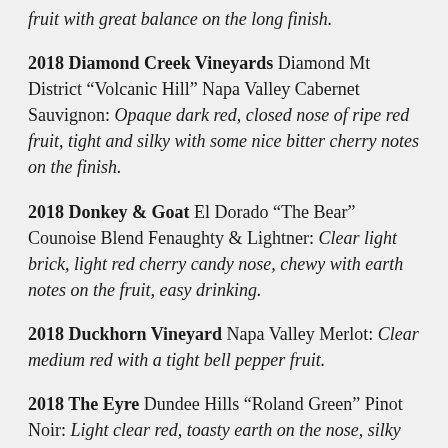fruit with great balance on the long finish.
2018 Diamond Creek Vineyards Diamond Mt District “Volcanic Hill” Napa Valley Cabernet Sauvignon: Opaque dark red, closed nose of ripe red fruit, tight and silky with some nice bitter cherry notes on the finish.
2018 Donkey & Goat El Dorado “The Bear” Counoise Blend Fenaughty & Lightner: Clear light brick, light red cherry candy nose, chewy with earth notes on the fruit, easy drinking.
2018 Duckhorn Vineyard Napa Valley Merlot: Clear medium red with a tight bell pepper fruit.
2018 The Eyre Dundee Hills “Roland Green” Pinot Noir: Light clear red, toasty earth on the nose, silky green fruit with good balance.